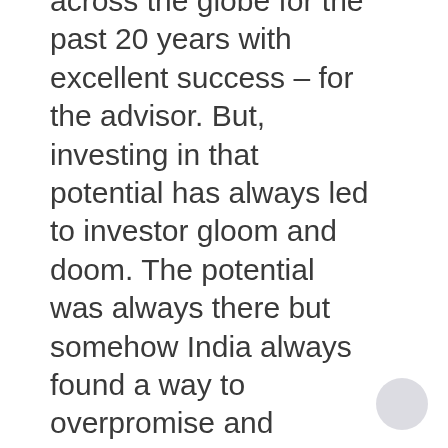across the globe for the past 20 years with excellent success – for the advisor. But, investing in that potential has always led to investor gloom and doom. The potential was always there but somehow India always found a way to overpromise and underdeliver, just like the Indian cricket teams that left with tremendous